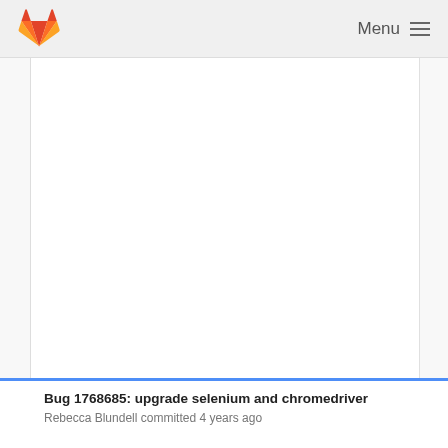GitLab — Menu
[Figure (screenshot): Large blank white content area representing a GitLab repository page body]
Bug 1768685: upgrade selenium and chromedriver
Rebecca Blundell committed 4 years ago